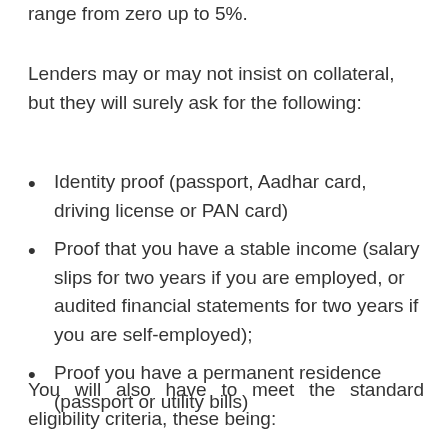range from zero up to 5%.
Lenders may or may not insist on collateral, but they will surely ask for the following:
Identity proof (passport, Aadhar card, driving license or PAN card)
Proof that you have a stable income (salary slips for two years if you are employed, or audited financial statements for two years if you are self-employed);
Proof you have a permanent residence (passport or utility bills)
You will also have to meet the standard eligibility criteria, these being: